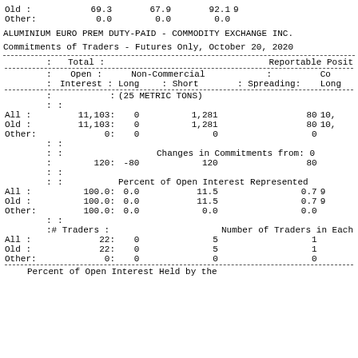| Old  : | 69.3 | 67.9 | 92.1 | 9 |
| Other: | 0.0 | 0.0 | 0.0 |  |
ALUMINIUM EURO PREM DUTY-PAID - COMMODITY EXCHANGE INC.
Commitments of Traders - Futures Only, October 20, 2020
| : Total : |  |  |  | Reportable Posit |
| --- | --- | --- | --- | --- |
| : Open : | Non-Commercial | : | Co |
| : Interest : | Long | : Short | : Spreading: | Long |
| : | (25 METRIC TONS) |  |  |  |
| All  : | 11,103: | 0 | 1,281 | 80 | 10, |
| Old  : | 11,103: | 0 | 1,281 | 80 | 10, |
| Other: | 0: | 0 | 0 | 0 |  |
| : |  | Changes in Commitments from: 0 |  |  |
| : | 120: | -80 | 120 | 80 |  |
| : |  | Percent of Open Interest Represented |  |  |
| All  : | 100.0: | 0.0 | 11.5 | 0.7 | 9 |
| Old  : | 100.0: | 0.0 | 11.5 | 0.7 | 9 |
| Other: | 100.0: | 0.0 | 0.0 | 0.0 |  |
| :# Traders : |  | Number of Traders in Each |  |  |
| All  : | 22: | 0 | 5 | 1 |  |
| Old  : | 22: | 0 | 5 | 1 |  |
| Other: | 0: | 0 | 0 | 0 |  |
Percent of Open Interest Held by the